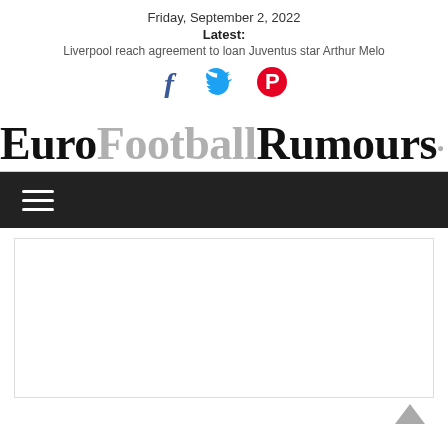Friday, September 2, 2022
Latest:
Liverpool reach agreement to loan Juventus star Arthur Melo
[Figure (other): Social media icons: Facebook (f), Twitter (bird), Pinterest (p)]
EuroFootballRumours.com
[Figure (other): Navigation bar with hamburger menu icon (three horizontal lines) on dark background]
[Figure (other): White content area placeholder below navigation bar]
[Figure (other): Back to top chevron arrow icon at bottom right]